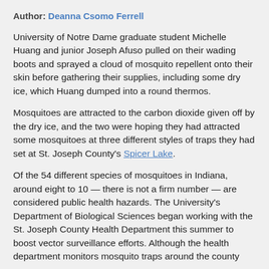Author: Deanna Csomo Ferrell
University of Notre Dame graduate student Michelle Huang and junior Joseph Afuso pulled on their wading boots and sprayed a cloud of mosquito repellent onto their skin before gathering their supplies, including some dry ice, which Huang dumped into a round thermos.
Mosquitoes are attracted to the carbon dioxide given off by the dry ice, and the two were hoping they had attracted some mosquitoes at three different styles of traps they had set at St. Joseph County's Spicer Lake.
Of the 54 different species of mosquitoes in Indiana, around eight to 10 — there is not a firm number — are considered public health hazards. The University's Department of Biological Sciences began working with the St. Joseph County Health Department this summer to boost vector surveillance efforts. Although the health department monitors mosquito traps around the county